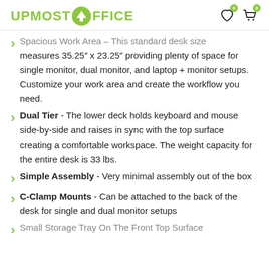UPMOST OFFICE
Spacious Work Area – This standard desk size measures 35.25" x 23.25" providing plenty of space for single monitor, dual monitor, and laptop + monitor setups. Customize your work area and create the workflow you need.
Dual Tier - The lower deck holds keyboard and mouse side-by-side and raises in sync with the top surface creating a comfortable workspace. The weight capacity for the entire desk is 33 lbs.
Simple Assembly - Very minimal assembly out of the box
C-Clamp Mounts - Can be attached to the back of the desk for single and dual monitor setups
Small Storage Tray On The Front Top Surface